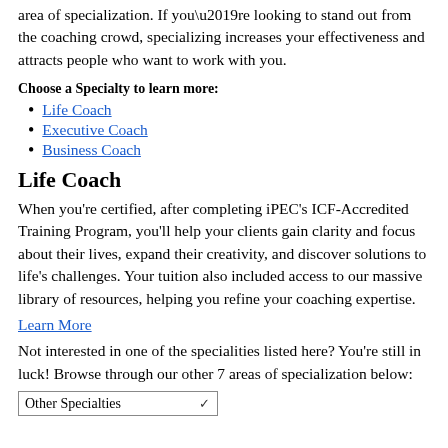area of specialization. If you’re looking to stand out from the coaching crowd, specializing increases your effectiveness and attracts people who want to work with you.
Choose a Specialty to learn more:
Life Coach
Executive Coach
Business Coach
Life Coach
When you’re certified, after completing iPEC’s ICF-Accredited Training Program, you’ll help your clients gain clarity and focus about their lives, expand their creativity, and discover solutions to life’s challenges. Your tuition also included access to our massive library of resources, helping you refine your coaching expertise.
Learn More
Not interested in one of the specialities listed here? You’re still in luck! Browse through our other 7 areas of specialization below: